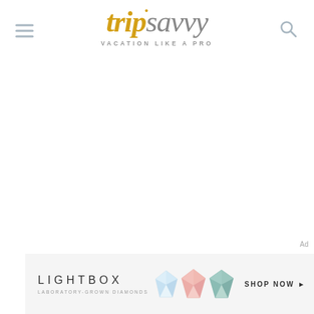tripsavvy VACATION LIKE A PRO
[Figure (other): Large white/blank content area below the TripSavvy header]
[Figure (other): Lightbox laboratory-grown diamonds advertisement banner with three diamond gems and SHOP NOW text]